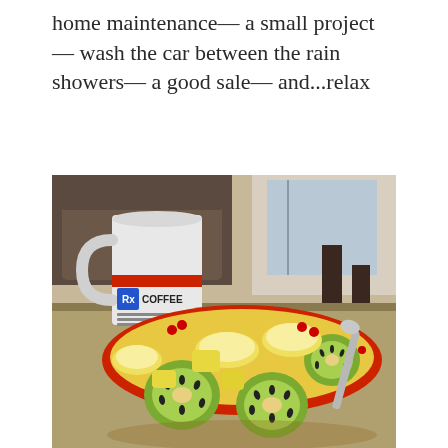home maintenance— a small project— wash the car between the rain showers— a good sale— and...relax
[Figure (photo): A photo showing a coffee mug labeled 'COFFEE' styled like a prescription bottle, next to a colorful bowl filled with sliced kiwi, banana, and other fruit pieces, set on a table with chairs in the background.]